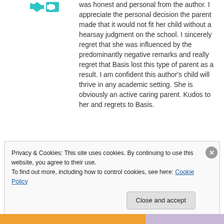[Figure (logo): Teal/cyan cross and arrow icon (medical or school logo)]
was honest and personal from the author. I appreciate the personal decision the parent made that it would not fit her child without a hearsay judgment on the school. I sincerely regret that she was influenced by the predominantly negative remarks and really regret that Basis lost this type of parent as a result. I am confident this author's child will thrive in any academic setting. She is obviously an active caring parent. Kudos to her and regrets to Basis.
Privacy & Cookies: This site uses cookies. By continuing to use this website, you agree to their use. To find out more, including how to control cookies, see here: Cookie Policy
Close and accept